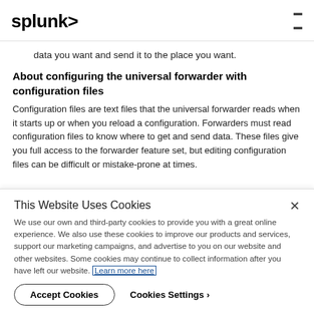splunk>  ☰
data you want and send it to the place you want.
About configuring the universal forwarder with configuration files
Configuration files are text files that the universal forwarder reads when it starts up or when you reload a configuration. Forwarders must read configuration files to know where to get and send data. These files give you full access to the forwarder feature set, but editing configuration files can be difficult or mistake-prone at times.
This Website Uses Cookies
We use our own and third-party cookies to provide you with a great online experience. We also use these cookies to improve our products and services, support our marketing campaigns, and advertise to you on our website and other websites. Some cookies may continue to collect information after you have left our website. Learn more here
Accept Cookies   Cookies Settings ›